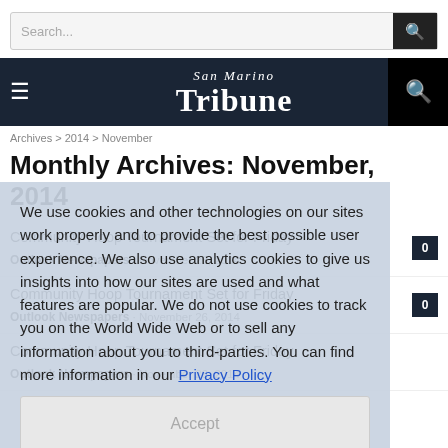Search...
San Marino Tribune
Archives > 2014 > November
Monthly Archives: November, 2014
We use cookies and other technologies on our sites work properly and to provide the best possible user experience. We also use analytics cookies to give us insights into how our sites are used and what features are popular. We do not use cookies to track you on the World Wide Web or to sell any information about you to third-parties. You can find more information in our Privacy Policy
Accept
Community Hoop Tournament Set for Friday — Outlook Newspapers · November 26, 2014 — 0
Community Hoop Tournament Set for Friday — Outlook Newspapers · November 26, 2014 — 0
Community Hoop Tournament Set for Friday — Outlook Newspapers · November 26, 2014